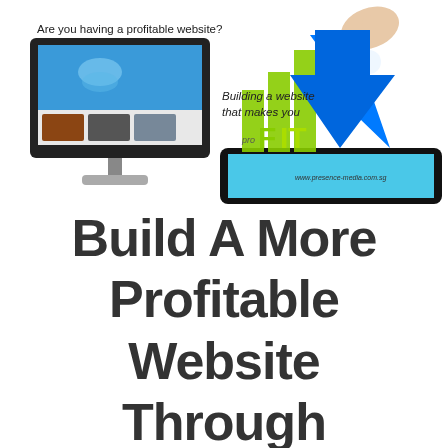[Figure (illustration): Composite marketing illustration: left side shows a desktop computer monitor displaying a website with a blue ocean/jellyfish image and thumbnail photos below. Above the monitor reads 'Are you having a profitable website?'. Right side shows a hand pointing down at a tablet device, with a large blue upward arrow and the word PROFIT in green/yellow 3D letters on a bar chart background. Text overlay reads 'Building a website that makes you' with 'PROFIT' displayed prominently.]
Build A More Profitable Website Through